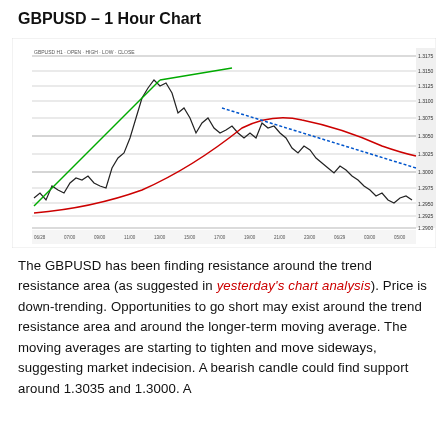GBPUSD – 1 Hour Chart
[Figure (continuous-plot): GBPUSD 1-hour candlestick/line chart showing price action with a green upward trend line, a red longer-term moving average curve, a blue downward trend line, and horizontal support/resistance levels. Price shows a rise to a peak then a downtrend toward the right side. Y-axis labels show price levels on the right. X-axis shows time labels at bottom.]
The GBPUSD has been finding resistance around the trend resistance area (as suggested in yesterday's chart analysis). Price is down-trending. Opportunities to go short may exist around the trend resistance area and around the longer-term moving average. The moving averages are starting to tighten and move sideways, suggesting market indecision. A bearish candle could find support around 1.3035 and 1.3000. A